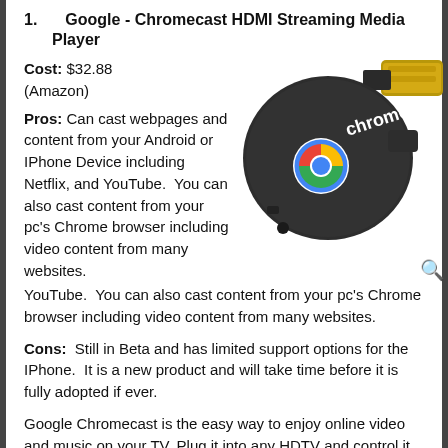1. Google - Chromecast HDMI Streaming Media Player
Cost: $32.88
(Amazon)
Pros: Can cast webpages and content from your Android or IPhone Device including Netflix, and YouTube. You can also cast content from your pc's Chrome browser including video content from many websites.
[Figure (photo): Photo of Google Chromecast HDMI dongle device, black with gold HDMI connector and Chrome logo]
Cons: Still in Beta and has limited support options for the IPhone. It is a new product and will take time before it is fully adopted if ever.
Google Chromecast is the easy way to enjoy online video and music on your TV. Plug it into any HDTV and control it